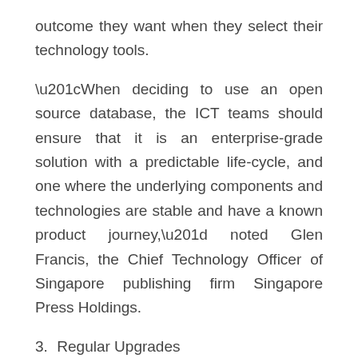outcome they want when they select their technology tools.
“When deciding to use an open source database, the ICT teams should ensure that it is an enterprise-grade solution with a predictable life-cycle, and one where the underlying components and technologies are stable and have a known product journey,” noted Glen Francis, the Chief Technology Officer of Singapore publishing firm Singapore Press Holdings.
3. Regular Upgrades
Choose open source software that has regular product upgrades, security patches and key features like multi-zoning options and high availability.